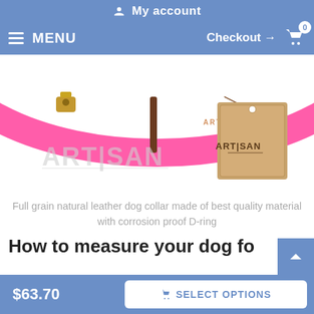My account
MENU  Checkout → 0
[Figure (photo): Pink ARTISAN leather dog collar with metal hardware and a kraft paper hang tag with ARTISAN branding]
Full grain natural leather dog collar made of best quality material with corrosion proof D-ring
How to measure your dog fo
$63.70  SELECT OPTIONS